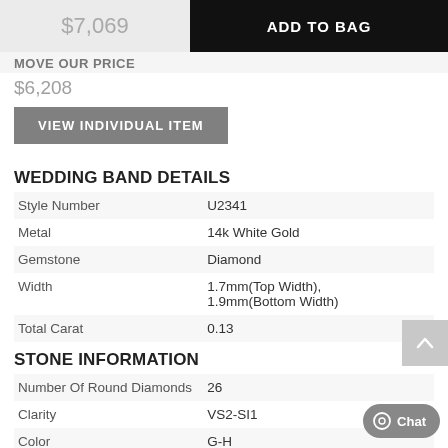$7,069  ADD TO BAG
MOVE OUR PRICE
$6,208
VIEW INDIVIDUAL ITEM
WEDDING BAND DETAILS
|  |  |
| --- | --- |
| Style Number | U2341 |
| Metal | 14k White Gold |
| Gemstone | Diamond |
| Width | 1.7mm(Top Width), 1.9mm(Bottom Width) |
| Total Carat | 0.13 |
STONE INFORMATION
|  |  |
| --- | --- |
| Number Of Round Diamonds | 26 |
| Clarity | VS2-SI1 |
| Color | G-H |
| Setting Type | Micro Pave |
| Carat Weight | 0.13 |